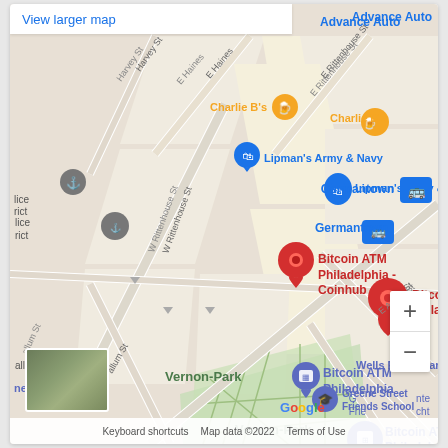[Figure (map): Google Maps screenshot showing Bitcoin ATM Philadelphia - Coinhub location near Vernon Park in Germantown, Philadelphia. Shows streets including W Rittenhouse St, E Rittenhouse St, E Haines St, Harvey St, E Armat St, School House Ln. Notable landmarks: Lipman's Army & Navy, Advance Auto, Charlie B's, Germantown bus stop, Wells Fargo Bank, Greene Street Friends School, Bitcoin ATM Philadelphia. Red pin marker indicates Bitcoin ATM Philadelphia - Coinhub location. Map data ©2022.]
View larger map
Bitcoin ATM Philadelphia - Coinhub
Bitcoin ATM Philadelphia
Vernon-Park
Advance Auto
Charlie B's
Lipman's Army & Navy
Germantown
Wells Fargo Bank
ne & Spirits
Greene Street Friends School
Keyboard shortcuts    Map data ©2022    Terms of Use